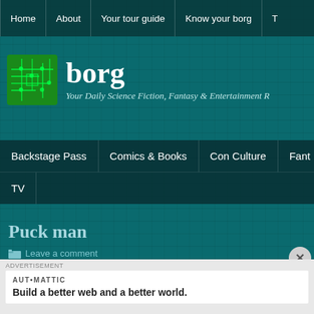Home | About | Your tour guide | Know your borg | T
[Figure (logo): Borg website logo with circuit board icon and text 'borg - Your Daily Science Fiction, Fantasy & Entertainment R']
Backstage Pass | Comics & Books | Con Culture | Fant | TV
Puck man
Leave a comment
[Figure (screenshot): Advertisement area: AUTOMATTIC - Build a better web and a better world.]